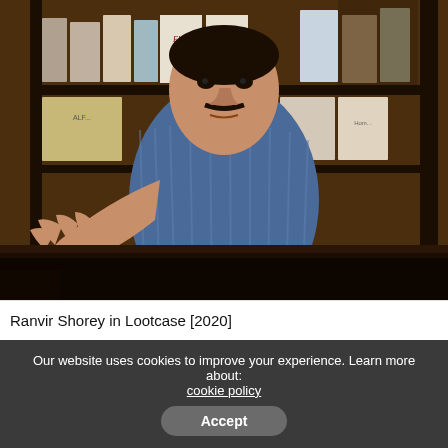[Figure (photo): A man (Ranvir Shorey) leaning forward and pointing/reaching toward the camera with an intense expression, wearing a blue striped short-sleeve shirt. Behind him are bookshelves with various book/magazine covers including ones labeled 'Elvis'. The setting appears to be a bookshop or newsstand with dark wooden shelving.]
Ranvir Shorey in Lootcase [2020]
Our website uses cookies to improve your experience. Learn more about: cookie policy
Accept